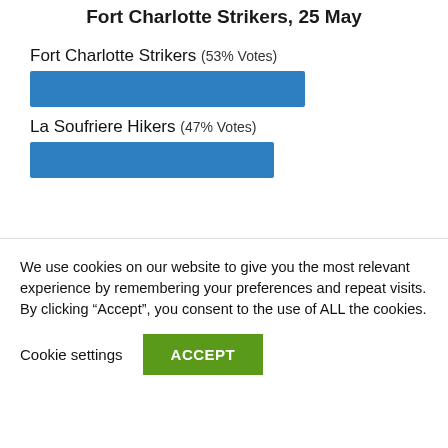Fort Charlotte Strikers, 25 May
Fort Charlotte Strikers (53% Votes)
[Figure (bar-chart): Vote percentages]
La Soufriere Hikers (47% Votes)
Match 10: SP Breakers vs BG Rangers, May 25, Starting from 6pm
We use cookies on our website to give you the most relevant experience by remembering your preferences and repeat visits. By clicking “Accept”, you consent to the use of ALL the cookies.
Cookie settings  ACCEPT